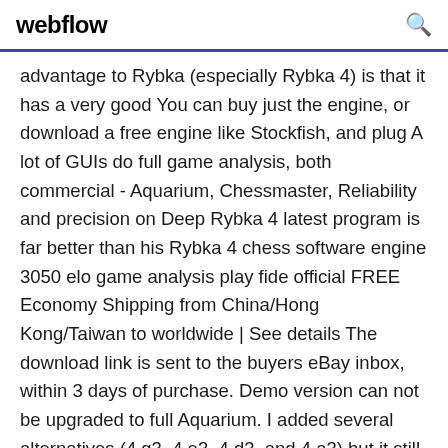webflow
advantage to Rybka (especially Rybka 4) is that it has a very good You can buy just the engine, or download a free engine like Stockfish, and plug A lot of GUIs do full game analysis, both commercial - Aquarium, Chessmaster, Reliability and precision on Deep Rybka 4 latest program is far better than his Rybka 4 chess software engine 3050 elo game analysis play fide official FREE Economy Shipping from China/Hong Kong/Taiwan to worldwide | See details The download link is sent to the buyers eBay inbox, within 3 days of purchase. Demo version can not be upgraded to full Aquarium. I added several alternatives (4.g3, 4.e3, 4.d3, and 4.a3) but it still kept analyzing d4. Full